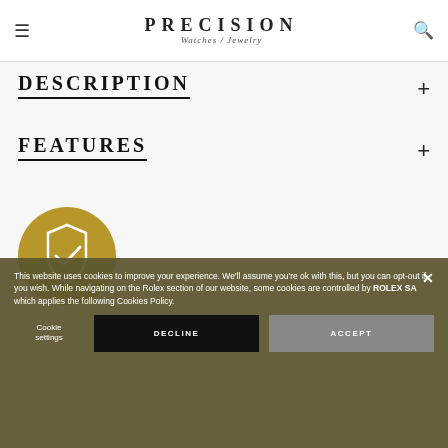PRECISION Watches / Jewelry
DESCRIPTION
FEATURES
[Figure (illustration): Gold circular badge with a shield and checkmark icon inside]
This website uses cookies to improve your experience. We'll assume you're ok with this, but you can opt-out if you wish. While navigating on the Rolex section of our website, some cookies are controlled by ROLEX SA which applies the following Cookies Policy.